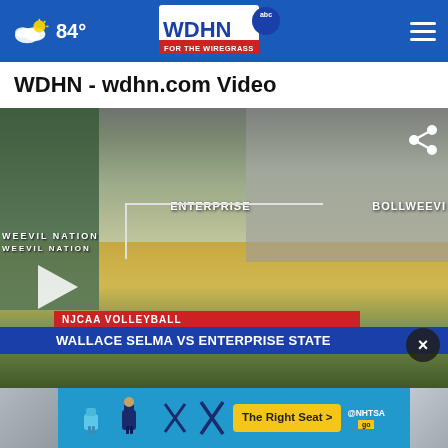84° WDHN FOR THE WIREGRASS (ABC)
WDHN - wdhn.com Video
[Figure (screenshot): Video player showing a volleyball game between Wallace Selma and Enterprise State at Enterprise gymnasium. Lower thirds show 'NJCAA VOLLEYBALL' category bar in red and 'WALLACE SELMA VS ENTERPRISE STATE' title bar in blue. A play button is visible. Share icon in top right. Close X button in lower right.]
[Figure (photo): Advertisement banner from NHTSA featuring The Right Seat campaign with car seat icons, yellow CTA button reading 'The Right Seat >' and NHTSA branding. Thumbnail images visible on left and right edges.]